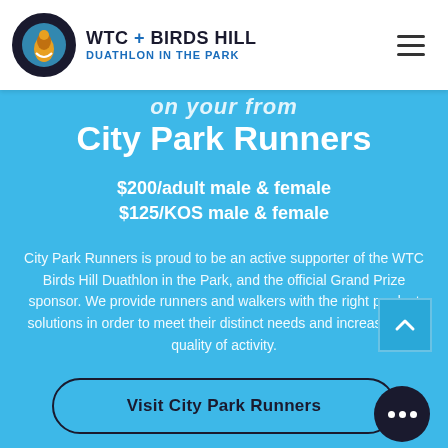WTC + BIRDS HILL DUATHLON IN THE PARK
City Park Runners
$200/adult male & female
$125/KOS male & female
City Park Runners is proud to be an active supporter of the WTC Birds Hill Duathlon in the Park, and the official Grand Prize sponsor. We provide runners and walkers with the right product solutions in order to meet their distinct needs and increase their quality of activity.
Visit City Park Runners